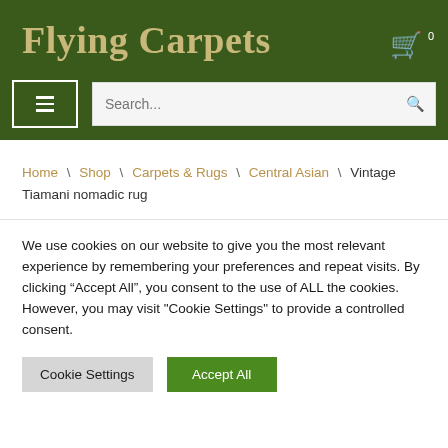Flying Carpets
Home \ Shop \ Carpets & Rugs \ Central Asian \ Vintage Tiamani nomadic rug
We use cookies on our website to give you the most relevant experience by remembering your preferences and repeat visits. By clicking “Accept All”, you consent to the use of ALL the cookies. However, you may visit "Cookie Settings" to provide a controlled consent.